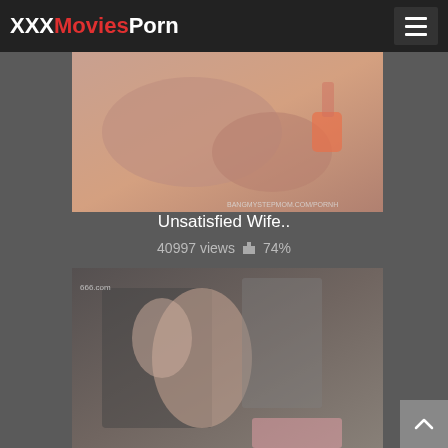XXXMoviesPorn
[Figure (photo): Thumbnail image of adult video content with watermark BANGMYSTEPMOM.COM/PORNH]
Unsatisfied Wife..
40997 views 👍 74%
[Figure (photo): Thumbnail image of adult video content with watermark 666.com]